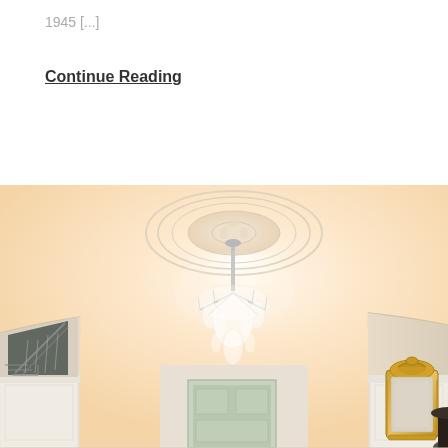1945 [...]
Continue Reading
[Figure (photo): Interior photo of an elegant hallway/foyer with a cream-colored ceiling featuring an ornate circular plaster rose medallion. A crystal chandelier hangs from the center. Below are visible a staircase with dark carpet on the left, a door at the back, white wainscoting on the walls, and a gold-framed ornate mirror on the right side.]